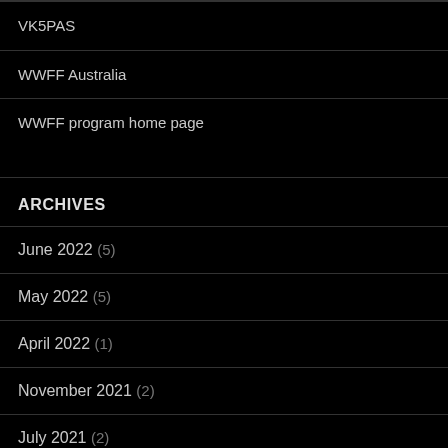VK5PAS
WWFF Australia
WWFF program home page
ARCHIVES
June 2022 (5)
May 2022 (5)
April 2022 (1)
November 2021 (2)
July 2021 (2)
May 2021 (1)
April 2021 (3)